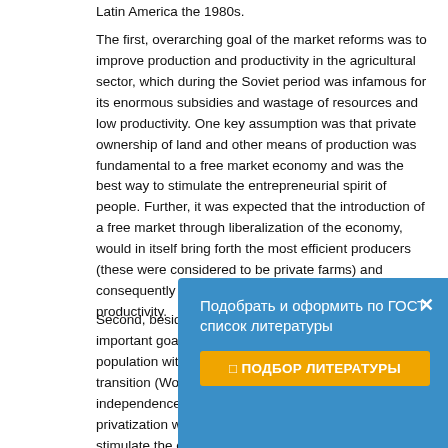Latin America the 1980s.
The first, overarching goal of the market reforms was to improve production and productivity in the agricultural sector, which during the Soviet period was infamous for its enormous subsidies and wastage of resources and low productivity. One key assumption was that private ownership of land and other means of production was fundamental to a free market economy and was the best way to stimulate the entrepreneurial spirit of people. Further, it was expected that the introduction of a free market through liberalization of the economy, would in itself bring forth the most efficient producers (these were considered to be private farms) and consequently an increase of production and productivity.
Second, besides improving efficiency in agriculture, an important goal of the reforms was to provide the population with economic independence during the transition (World Bank, 1996). After decades of independence. Well-designed and implemented privatization would bring economic freedom and stimulate the emergence of civil society and
[Figure (other): Russian language popup overlay with blue background, title 'Подобрать и оформить по ГОСТ список литературы', close button X, and orange button 'ПОДБОР ЛИТЕРАТУРЫ']